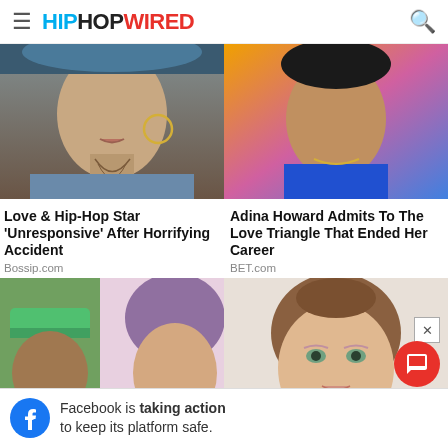HIPHOPWIRED
[Figure (photo): Close-up photo of a woman with neck tattoos and hoop earring, wearing a denim jacket]
Love & Hip-Hop Star 'Unresponsive' After Horrifying Accident
Bossip.com
[Figure (photo): Close-up photo of a person with colorful background wearing a blue outfit with gold necklace]
Adina Howard Admits To The Love Triangle That Ended Her Career
BET.com
[Figure (photo): Two people: man in green trucker cap on left, woman with dark purple hair on right]
[Figure (photo): Close-up photo of a young woman with brown hair pulled back]
Facebook is taking action to keep its platform safe.